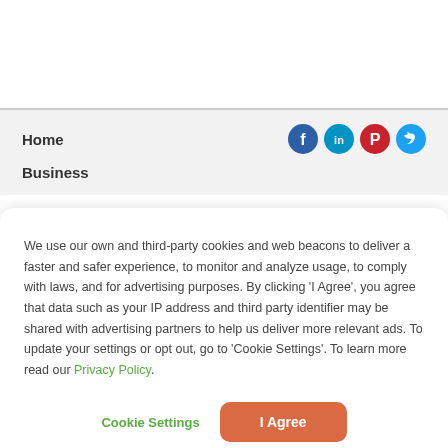Home
Business
We use our own and third-party cookies and web beacons to deliver a faster and safer experience, to monitor and analyze usage, to comply with laws, and for advertising purposes. By clicking 'I Agree', you agree that data such as your IP address and third party identifier may be shared with advertising partners to help us deliver more relevant ads. To update your settings or opt out, go to 'Cookie Settings'. To learn more read our Privacy Policy.
Cookie Settings
I Agree